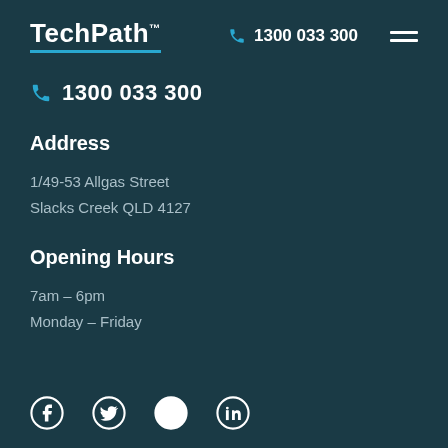TechPath | 1300 033 300
1300 033 300
Address
1/49-53 Allgas Street
Slacks Creek QLD 4127
Opening Hours
7am – 6pm
Monday – Friday
[Figure (infographic): Social media icons: Facebook, Twitter, Instagram, LinkedIn]